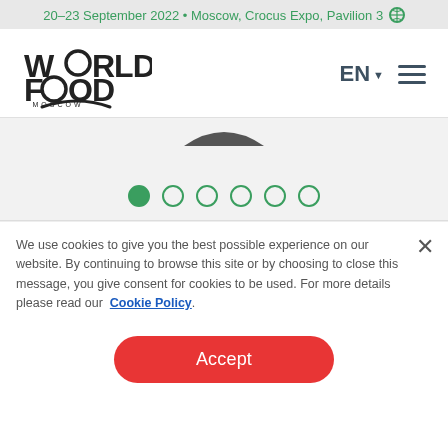20–23 September 2022 • Moscow, Crocus Expo, Pavilion 3
[Figure (logo): World Food Moscow logo with stylized text and smile arc]
[Figure (other): Slider navigation dots — first dot filled green, five empty dots]
We use cookies to give you the best possible experience on our website. By continuing to browse this site or by choosing to close this message, you give consent for cookies to be used. For more details please read our Cookie Policy.
Accept